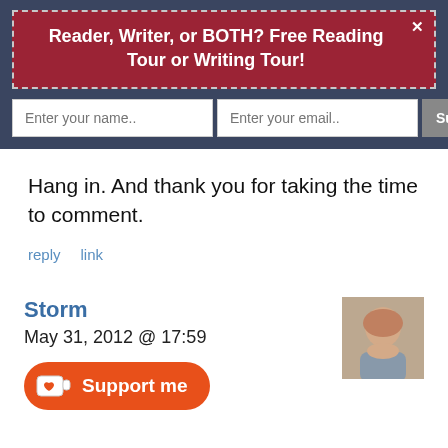Reader, Writer, or BOTH? Free Reading Tour or Writing Tour!
Enter your name..   Enter your email..   Subscribe Now
Hang in. And thank you for taking the time to comment.
reply   link
Storm
May 31, 2012 @ 17:59
[Figure (illustration): Avatar photo of Storm - a person with reddish/blonde hair]
Support me